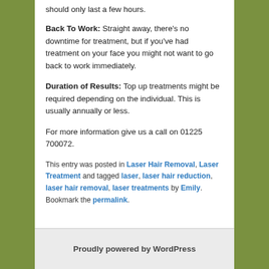should only last a few hours.
Back To Work: Straight away, there's no downtime for treatment, but if you've had treatment on your face you might not want to go back to work immediately.
Duration of Results: Top up treatments might be required depending on the individual. This is usually annually or less.
For more information give us a call on 01225 700072.
This entry was posted in Laser Hair Removal, Laser Treatment and tagged laser, laser hair reduction, laser hair removal, laser treatments by Emily. Bookmark the permalink.
Proudly powered by WordPress